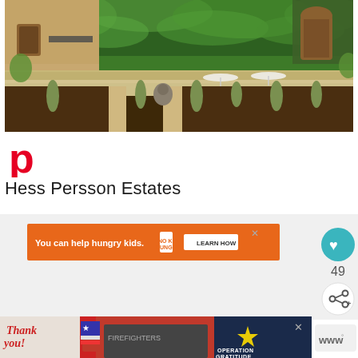[Figure (photo): Outdoor courtyard of Hess Persson Estates winery with ivy-covered building, stone walls, ornamental grasses, a sitting sculpture, and white umbrellas in the background]
[Figure (logo): Pinterest 'P' logo in red]
Hess Persson Estates
[Figure (infographic): Orange advertisement banner: 'You can help hungry kids. NO KID HUNGRY. LEARN HOW' with close button]
[Figure (infographic): Heart/like button (teal circle with heart icon) and share button, with like count 49]
[Figure (infographic): Bottom black advertisement banner: 'Thank you!' with firefighters and Operation Gratitude logo, with close button]
[Figure (logo): Weather widget showing 'www' symbol]